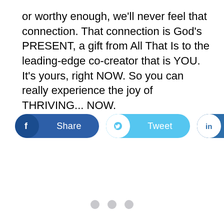or worthy enough, we'll never feel that connection. That connection is God's PRESENT, a gift from All That Is to the leading-edge co-creator that is YOU. It's yours, right NOW. So you can really experience the joy of THRIVING... NOW.
[Figure (infographic): Three social sharing buttons: Facebook Share button (dark blue), Twitter Tweet button (light blue), LinkedIn Share button (dark blue)]
[Figure (other): Three grey pagination dots at the bottom of the page]